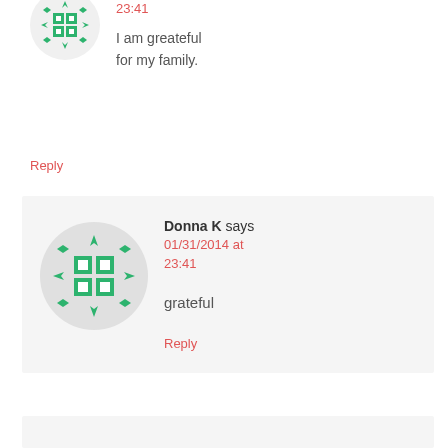[Figure (illustration): Green geometric avatar icon in a circle (small, top comment)]
23:41
I am greateful for my family.
Reply
[Figure (illustration): Green geometric avatar icon in a circle (large, reply comment)]
Donna K says
01/31/2014 at 23:41
grateful
Reply